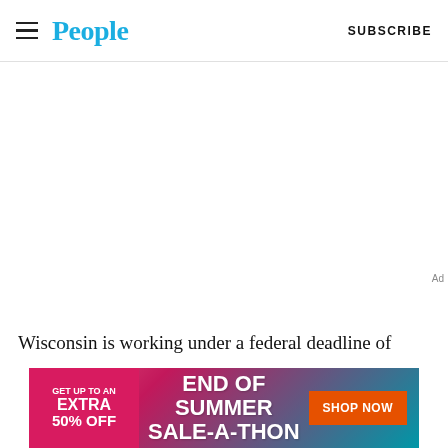People — SUBSCRIBE
Wisconsin is working under a federal deadline of
[Figure (other): Advertisement banner: END OF SUMMER SALE-A-THON. GET UP TO AN EXTRA 50% OFF. SHOP NOW button.]